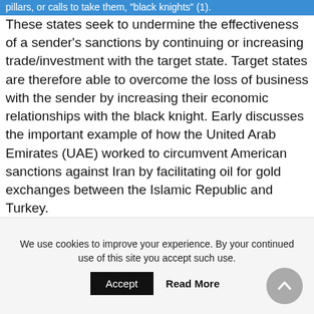pillars, or calls to take them, "black knights" (1).
These states seek to undermine the effectiveness of a sender's sanctions by continuing or increasing trade/investment with the target state. Target states are therefore able to overcome the loss of business with the sender by increasing their economic relationships with the black knight. Early discusses the important example of how the United Arab Emirates (UAE) worked to circumvent American sanctions against Iran by facilitating oil for gold exchanges between the Islamic Republic and Turkey.
Early identifies two types of sanctions-busting.
We use cookies to improve your experience. By your continued use of this site you accept such use.